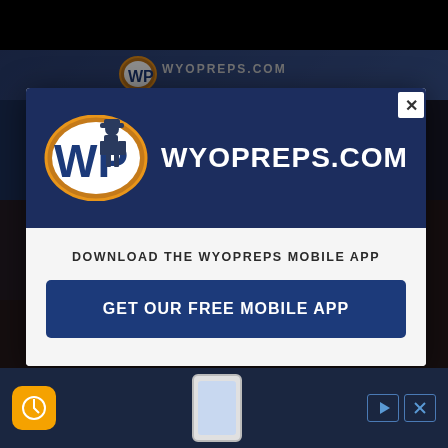[Figure (screenshot): WyoPreps.com website screenshot with dark navy background, navigation bar, and basketball photo content in the background]
[Figure (screenshot): Modal popup dialog on WyoPreps.com showing the WyoPreps logo (WP oval with cowboy) and WYOPREPS.COM text in dark blue header, with white body containing 'DOWNLOAD THE WYOPREPS MOBILE APP' text and a dark blue 'GET OUR FREE MOBILE APP' button]
WYOPREPS.COM
DOWNLOAD THE WYOPREPS MOBILE APP
GET OUR FREE MOBILE APP